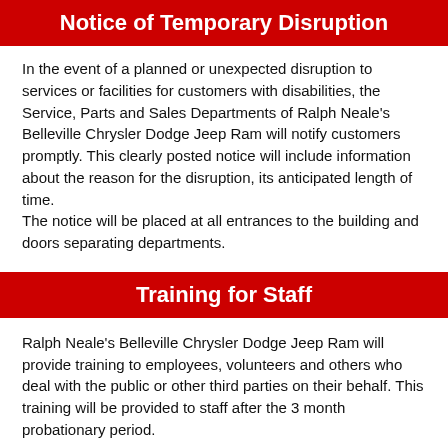Notice of Temporary Disruption
In the event of a planned or unexpected disruption to services or facilities for customers with disabilities, the Service, Parts and Sales Departments of Ralph Neale's Belleville Chrysler Dodge Jeep Ram will notify customers promptly. This clearly posted notice will include information about the reason for the disruption, its anticipated length of time.
The notice will be placed at all entrances to the building and doors separating departments.
Training for Staff
Ralph Neale's Belleville Chrysler Dodge Jeep Ram will provide training to employees, volunteers and others who deal with the public or other third parties on their behalf. This training will be provided to staff after the 3 month probationary period.